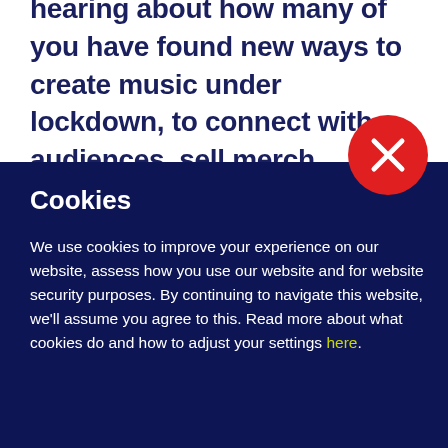hearing about how many of you have found new ways to create music under lockdown, to connect with audiences, sell merch,
[Figure (illustration): Red circle with white X close button]
Cookies
We use cookies to improve your experience on our website, assess how you use our website and for website security purposes. By continuing to navigate this website, we'll assume you agree to this. Read more about what cookies do and how to adjust your settings here.